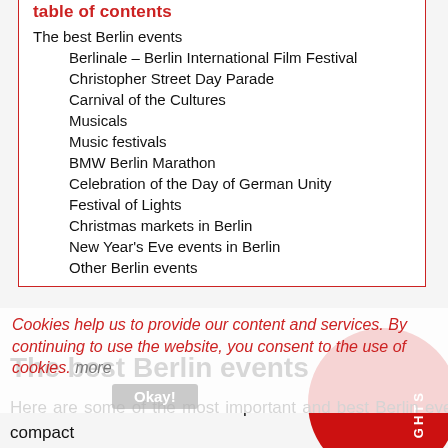table of contents
The best Berlin events
Berlinale – Berlin International Film Festival
Christopher Street Day Parade
Carnival of the Cultures
Musicals
Music festivals
BMW Berlin Marathon
Celebration of the Day of German Unity
Festival of Lights
Christmas markets in Berlin
New Year's Eve events in Berlin
Other Berlin events
Cookies help us to provide our content and services. By continuing to use the website, you consent to the use of cookies. more
The best Berlin events
Here are some of the most important and best Berlin events for you in a compact